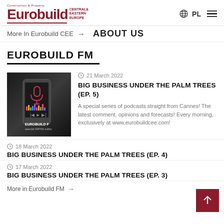Eurobuild CENTRALS& EASTERN EUROPE — PL
More In Eurobuild CEE → ABOUT US
EUROBUILD FM
[Figure (photo): A smartphone displaying a podcast player interface with a microphone icon, with text overlay: EUROBUILD F... special MIPIM editio...]
21 March 2022
BIG BUSINESS UNDER THE PALM TREES (EP. 5)
A special series of podcasts straight from Cannes! The latest comment, opinions and forecasts! Every morning, exclusively at www.eurobuildcee.com!
18 March 2022
BIG BUSINESS UNDER THE PALM TREES (EP. 4)
17 March 2022
BIG BUSINESS UNDER THE PALM TREES (EP. 3)
More in Eurobuild FM →